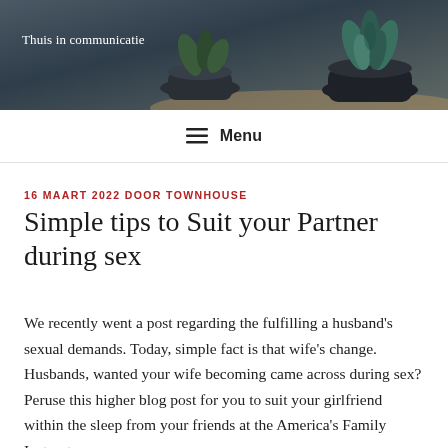[Figure (photo): Header photo showing dark potted plant with succulent/cactus on a blurred indoor table background]
Thuis in communicatie
≡ Menu
16 MAART 2022 DOOR TOWNHOUSE
Simple tips to Suit your Partner during sex
We recently went a post regarding the fulfilling a husband's sexual demands. Today, simple fact is that wife's change. Husbands, wanted your wife becoming came across during sex? Peruse this higher blog post for you to suit your girlfriend within the sleep from your friends at the America's Family Instructors.